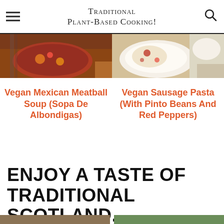Traditional Plant-Based Cooking!
[Figure (photo): Bowl of vegan Mexican meatball soup with tomato broth]
[Figure (photo): Plate of vegan sausage pasta with pinto beans and red peppers]
Vegan Mexican Meatball Soup (Sopa De Albondigas)
Vegan Sausage Pasta (With Pinto Beans And Red Peppers)
ENJOY A TASTE OF TRADITIONAL SCOTLAND...
[Figure (photo): Partial bottom photo strip — traditional Scottish food images]